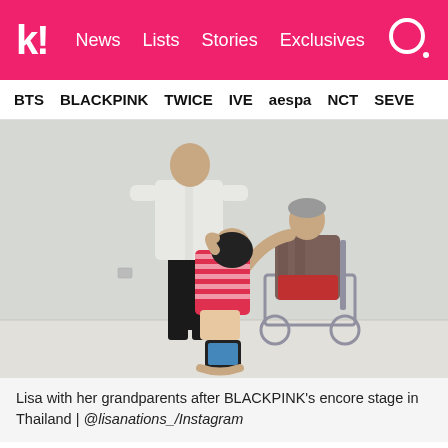k! News Lists Stories Exclusives
BTS BLACKPINK TWICE IVE aespa NCT SEVE
[Figure (photo): Lisa kneeling on the floor, head bowed, next to an elderly woman in a wheelchair who is touching her head. A man in a white shirt stands behind them. A phone in someone's hand is visible in the foreground. Background is a plain light-colored wall and wood floor.]
Lisa with her grandparents after BLACKPINK's encore stage in Thailand | @lisanations_/Instagram